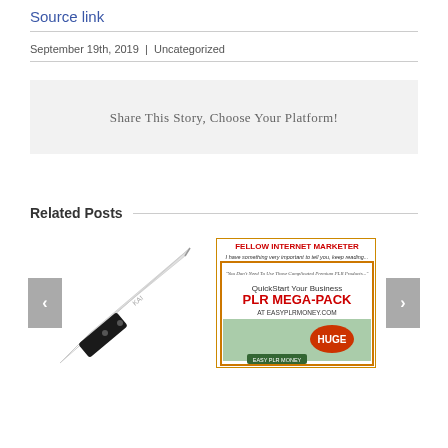Source link
September 19th, 2019  |  Uncategorized
Share This Story, Choose Your Platform!
Related Posts
[Figure (photo): A kitchen knife with black handle on white background]
[Figure (photo): PLR Mega-Pack advertisement image from easyplrmoney.com with text: FELLOW INTERNET MARKETER, QuickStart Your Business, PLR MEGA-PACK AT EASYPLRMONEY.COM]